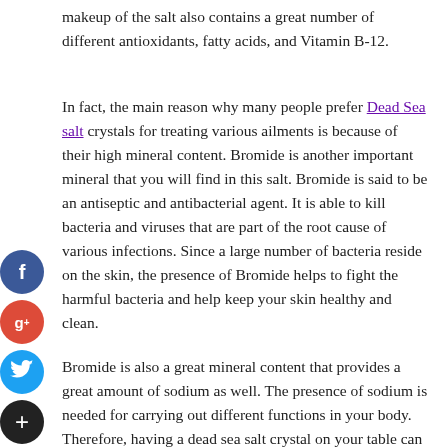makeup of the salt also contains a great number of different antioxidants, fatty acids, and Vitamin B-12.
In fact, the main reason why many people prefer Dead Sea salt crystals for treating various ailments is because of their high mineral content. Bromide is another important mineral that you will find in this salt. Bromide is said to be an antiseptic and antibacterial agent. It is able to kill bacteria and viruses that are part of the root cause of various infections. Since a large number of bacteria reside on the skin, the presence of Bromide helps to fight the harmful bacteria and help keep your skin healthy and clean.
Bromide is also a great mineral content that provides a great amount of sodium as well. The presence of sodium is needed for carrying out different functions in your body. Therefore, having a dead sea salt crystal on your table can